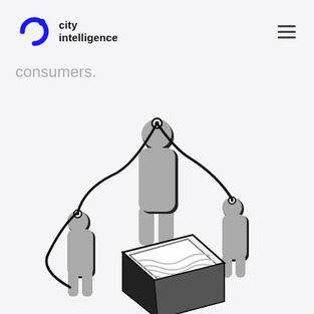city intelligence
consumers.
[Figure (illustration): Illustration of three grey human silhouette figures connected by black curving lines/cables to a central box/screen showing wavy topographic lines, rendered in black and grey isometric style.]